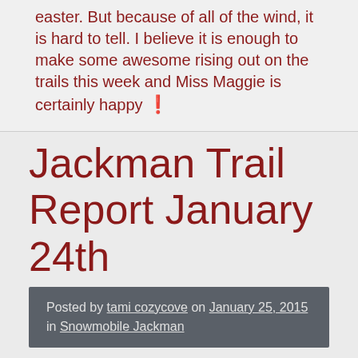easter. But because of all of the wind, it is hard to tell. I believe it is enough to make some awesome rising out on the trails this week and Miss Maggie is certainly happy ❗
Jackman Trail Report January 24th
Posted by tami cozycove on January 25, 2015 in Snowmobile Jackman
A quick summary of the trail as after Wednesday, the only reports should be EXCELLENT ❗ Snowfall predicted is from 17-20 inches. We have such a solid base that even 6 inches would make our trail great.